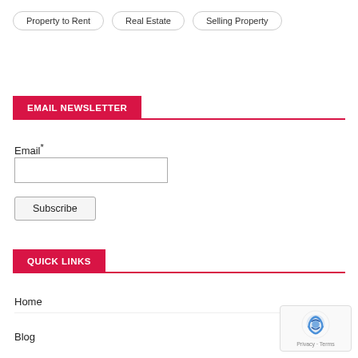Property to Rent
Real Estate
Selling Property
EMAIL NEWSLETTER
Email*
QUICK LINKS
Home
Blog